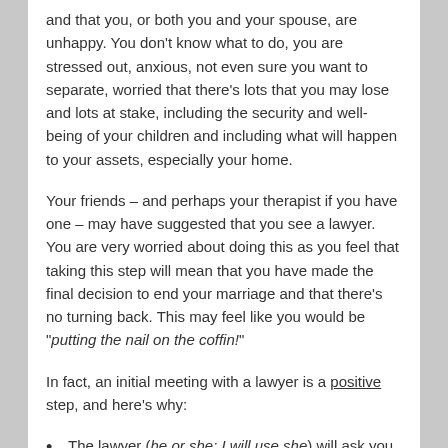and that you, or both you and your spouse, are unhappy. You don't know what to do, you are stressed out, anxious, not even sure you want to separate, worried that there's lots that you may lose and lots at stake, including the security and well-being of your children and including what will happen to your assets, especially your home.
Your friends – and perhaps your therapist if you have one – may have suggested that you see a lawyer. You are very worried about doing this as you feel that taking this step will mean that you have made the final decision to end your marriage and that there's no turning back. This may feel like you would be "putting the nail on the coffin!"
In fact, an initial meeting with a lawyer is a positive step, and here's why:
The lawyer (he or she; I will use she) will ask you your objectives, and where you feel you are at on the continuum of decision making – undecided, ambivalent,